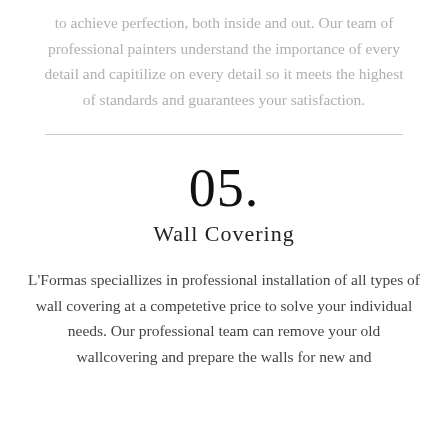to achieve perfection, both inside and out. Our team of professional painters understand the importance of every detail and capitilize on every detail so it meets the highest of standards and guarantees your satisfaction.
05.
Wall Covering
L'Formas speciallizes in professional installation of all types of wall covering at a competetive price to solve your individual needs. Our professional team can remove your old wallcovering and prepare the walls for new and